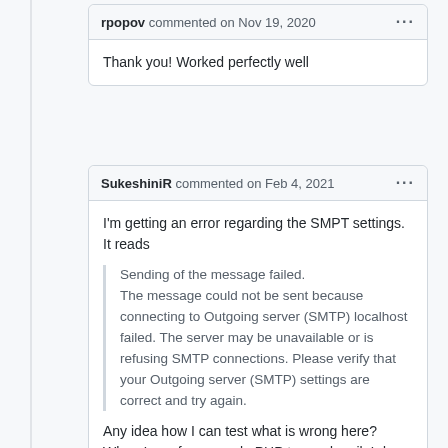rpopov commented on Nov 19, 2020
Thank you! Worked perfectly well
SukeshiniR commented on Feb 4, 2021
I'm getting an error regarding the SMPT settings. It reads
Sending of the message failed.
The message could not be sent because connecting to Outgoing server (SMTP) localhost failed. The server may be unavailable or is refusing SMTP connections. Please verify that your Outgoing server (SMTP) settings are correct and try again.
Any idea how I can test what is wrong here? When I use for example PHP to send mail, I do receive it, but when I